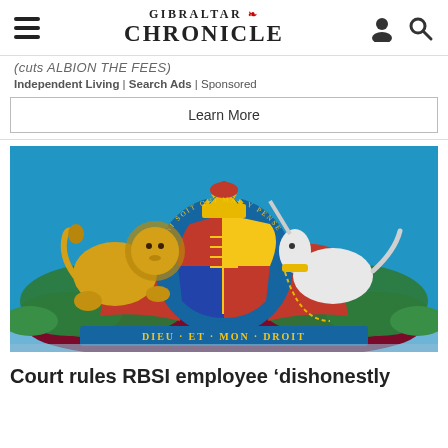GIBRALTAR CHRONICLE
(cuts ALBION THE FEES)
Independent Living | Search Ads | Sponsored
Learn More
[Figure (photo): Royal coat of arms of the United Kingdom — a lion on the left and a unicorn on the right flanking an ornate heraldic shield with crown on top, mounted on a deep blue sky background. The motto banner reads DIEU ET MON DROIT.]
Court rules RBSI employee ‘dishonestly